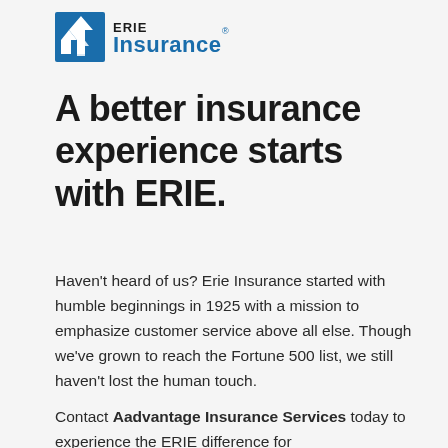[Figure (logo): Erie Insurance logo with blue arrow/shield icon and 'Erie Insurance' wordmark in blue text]
A better insurance experience starts with ERIE.
Haven't heard of us? Erie Insurance started with humble beginnings in 1925 with a mission to emphasize customer service above all else. Though we've grown to reach the Fortune 500 list, we still haven't lost the human touch.
Contact Aadvantage Insurance Services today to experience the ERIE difference for